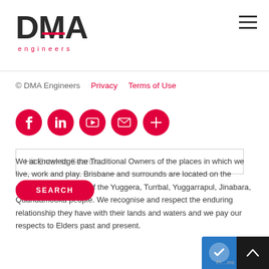[Figure (logo): DMA Engineers logo with red dash accent and 'engineers' text in red below]
[Figure (other): Hamburger menu icon (three horizontal lines) in top right corner]
© DMA Engineers   Privacy   Terms of Use
[Figure (other): Five red circular social media icon buttons: Facebook (f), LinkedIn (in), YouTube, Email (envelope), and plus (+)]
Hit Enter to Search...
We acknowledge the Traditional Owners of the places in which we live, work and play. Brisbane and surrounds are located on the custodial homelands of the Yuggera, Turrbal, Yuggarrapul, Jinabara, Quandamooka people. We recognise and respect the enduring relationship they have with their lands and waters and we pay our respects to Elders past and present.
SEARCH